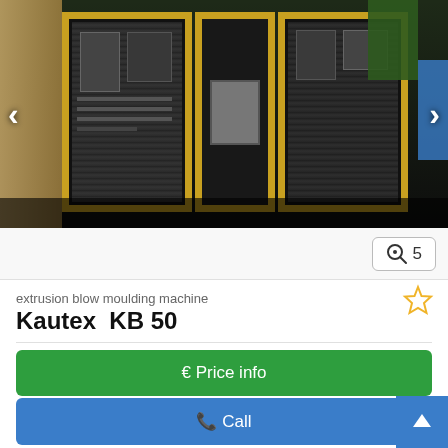[Figure (photo): Industrial extrusion blow moulding machine (Kautex KB 50) with yellow-framed panels open, showing internal machinery components, photographed in a factory setting. Navigation arrows on left and right sides.]
5 (photo count with zoom icon)
extrusion blow moulding machine
Kautex  KB 50
€ Price info
✆ Call
Kolodvorska cesta 9, 5213 Kanal, Slovenija
7090 km
Save search query
1989